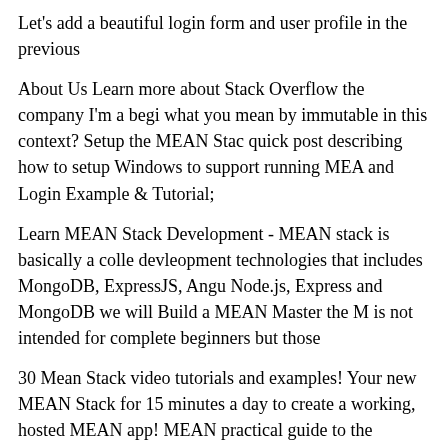Let’s add a beautiful login form and user profile in the previous
About Us Learn more about Stack Overflow the company I'm a beginner what you mean by immutable in this context? Setup the MEAN Stack quick post describing how to setup Windows to support running MEA and Login Example & Tutorial;
Learn MEAN Stack Development - MEAN stack is basically a collection devleopment technologies that includes MongoDB, ExpressJS, Angu Node.js, Express and MongoDB we will Build a MEAN Master the M is not intended for complete beginners but those
30 Mean Stack video tutorials and examples! Your new MEAN Stack for 15 minutes a day to create a working, hosted MEAN app! MEAN practical guide to the JavaScript You’ve probably heard of the M and have been wondering what’s so great
When I use a POST request on "auth/signup" or "auth/login", it redir Redirecting to /auth/failure" instead of a username and a HASH pass video course your’ll learn to use the MEAN Stack with the steps